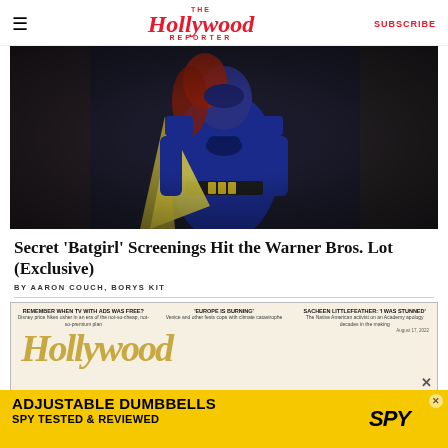The Hollywood Reporter — SUBSCRIBE
[Figure (photo): A person dressed in Batgirl costume — blue leather suit with bat symbol, utility belt, and yellow-lined cape — standing in a dark stone corridor.]
Secret 'Batgirl' Screenings Hit the Warner Bros. Lot (Exclusive)
BY AARON COUCH, BORYS KIT
[Figure (screenshot): Hollywood Reporter magazine cover snippet showing three article headlines: 'REMEMBER WHEN TV WITH ADS WAS FREE?', 'EUROPE IS BURNING', 'SACHEEN LITTLEFEATHER: I WAS STUNNED' with partial Hollywood Reporter masthead visible in gold text. Date: August 17, 2022.]
[Figure (photo): Advertisement banner: ADJUSTABLE DUMBBELLS SPY TESTED & REVIEWED on yellow background with SPY logo.]